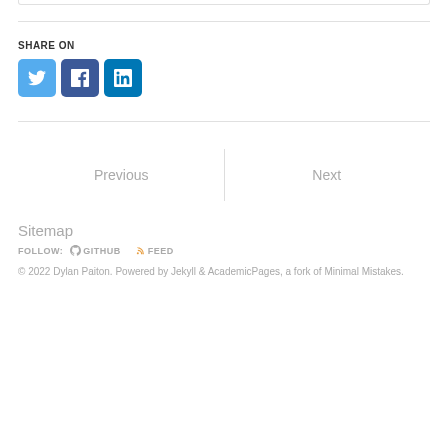SHARE ON
[Figure (infographic): Three social share buttons: Twitter (blue), Facebook (dark blue), LinkedIn (steel blue)]
| Previous | Next |
| --- | --- |
|  |
Sitemap
FOLLOW: GITHUB  FEED
© 2022 Dylan Paiton. Powered by Jekyll & AcademicPages, a fork of Minimal Mistakes.